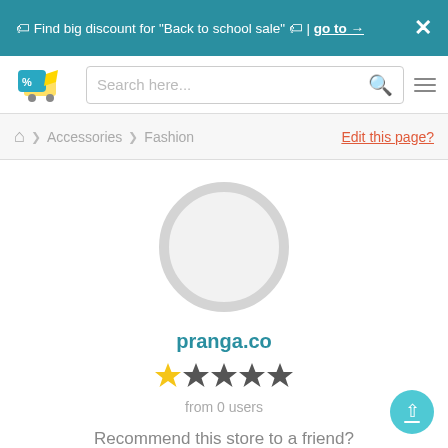🏷 Find big discount for "Back to school sale" 🏷 | go to → ✕
[Figure (logo): Shopping/discount website logo with percentage tag and shopping cart icon]
Search here...
Accessories > Fashion   Edit this page?
[Figure (illustration): Large circular placeholder image (grey ring on light grey background)]
pranga.co
[Figure (other): Star rating: 1 gold star and 4 dark/grey stars]
from 0 users
Recommend this store to a friend?
👍 Yes   👎 No